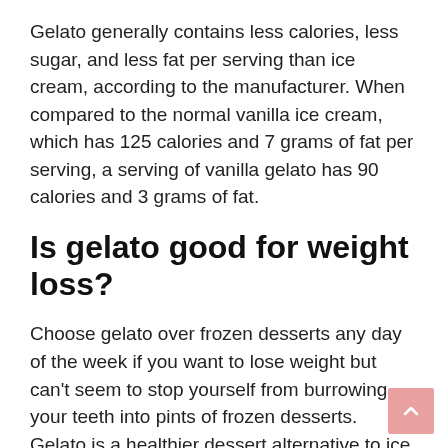Gelato generally contains less calories, less sugar, and less fat per serving than ice cream, according to the manufacturer. When compared to the normal vanilla ice cream, which has 125 calories and 7 grams of fat per serving, a serving of vanilla gelato has 90 calories and 3 grams of fat.
Is gelato good for weight loss?
Choose gelato over frozen desserts any day of the week if you want to lose weight but can't seem to stop yourself from burrowing your teeth into pints of frozen desserts. Gelato is a healthier dessert alternative to ice cream since it has fewer calories and fats.